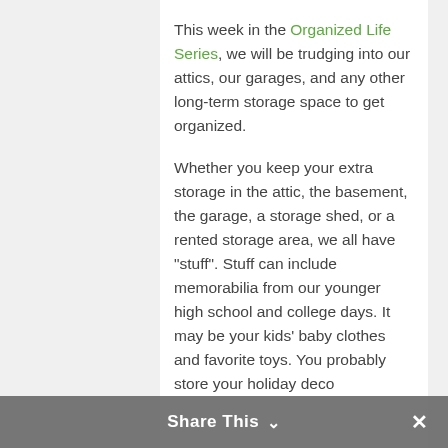This week in the Organized Life Series, we will be trudging into our attics, our garages, and any other long-term storage space to get organized.
Whether you keep your extra storage in the attic, the basement, the garage, a storage shed, or a rented storage area, we all have "stuff". Stuff can include memorabilia from our younger high school and college days. It may be your kids' baby clothes and favorite toys. You probably store your holiday dec...
Share This ∨  ✕